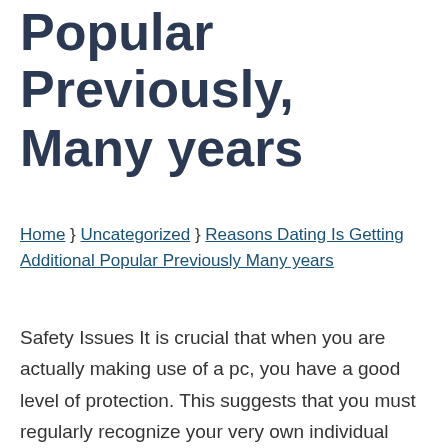Popular Previously, Many years
Home } Uncategorized } Reasons Dating Is Getting Additional Popular Previously Many years
Safety Issues It is crucial that when you are actually making use of a pc, you have a good level of protection. This suggests that you must regularly recognize your very own individual computer system setups and also reports. It is actually vital that you transform off documents that establishment personal info, especially if you are actually using an online dating web site that is actually certainly not code guarded. You ought to likewise help make certain that